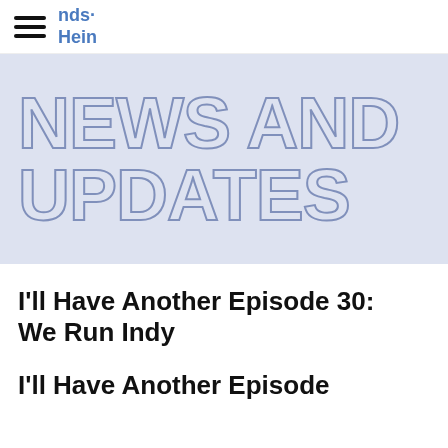nds· Hein
NEWS AND UPDATES
I'll Have Another Episode 30: We Run Indy
I'll Have Another Episode